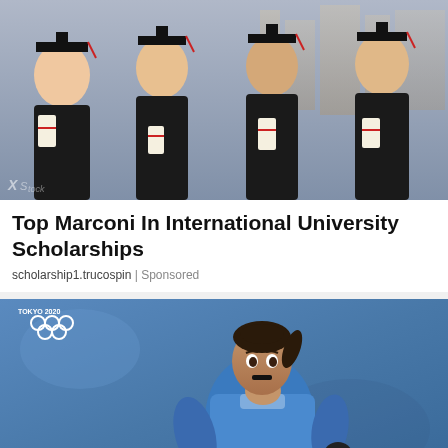[Figure (photo): Four university graduates in black academic gowns and mortarboard caps with red tassels, smiling and holding rolled diplomas tied with red ribbons, standing outdoors near a building.]
Top Marconi In International University Scholarships
scholarship1.trucospin | Sponsored
[Figure (photo): Female Indian field hockey player in blue uniform with INDIA text, wearing black gloves, intensely focused, with Tokyo 2020 Olympics logo visible in top left corner.]